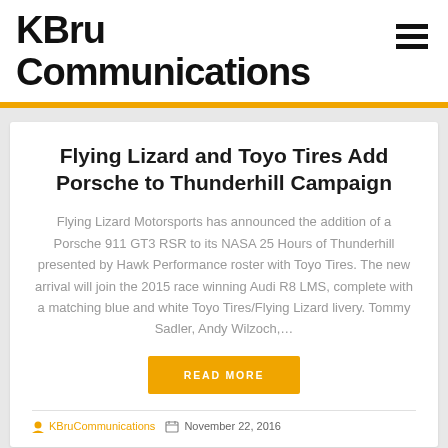KBru Communications
Flying Lizard and Toyo Tires Add Porsche to Thunderhill Campaign
Flying Lizard Motorsports has announced the addition of a Porsche 911 GT3 RSR to its NASA 25 Hours of Thunderhill presented by Hawk Performance roster with Toyo Tires. The new arrival will join the 2015 race winning Audi R8 LMS, complete with a matching blue and white Toyo Tires/Flying Lizard livery. Tommy Sadler, Andy Wilzoch,…
READ MORE
KBruCommunications   November 22, 2016